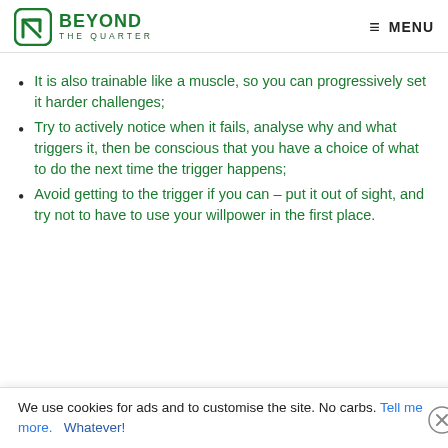BEYOND THE QUARTER | MENU
It is also trainable like a muscle, so you can progressively set it harder challenges;
Try to actively notice when it fails, analyse why and what triggers it, then be conscious that you have a choice of what to do the next time the trigger happens;
Avoid getting to the trigger if you can – put it out of sight, and try not to have to use your willpower in the first place.
We use cookies for ads and to customise the site. No carbs. Tell me more. Whatever!